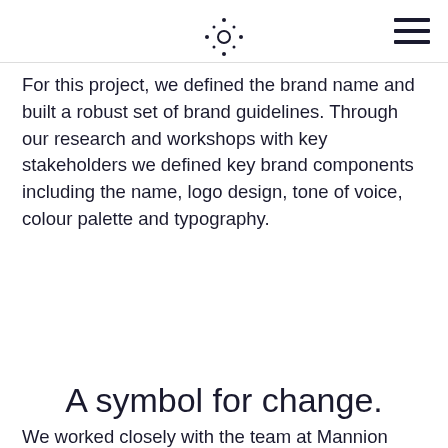[logo icon] [hamburger menu]
For this project, we defined the brand name and built a robust set of brand guidelines. Through our research and workshops with key stakeholders we defined key brand components including the name, logo design, tone of voice, colour palette and typography.
A symbol for change.
We worked closely with the team at Mannion Daniels to